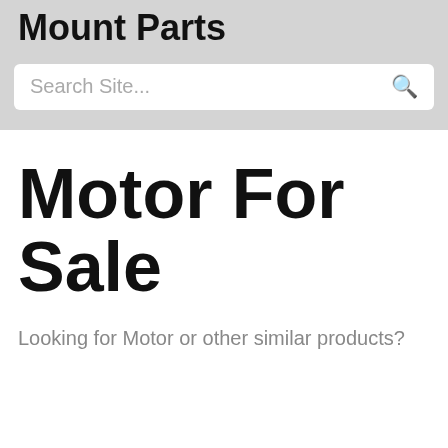Mount Parts
Search Site...
Motor For Sale
Looking for Motor or other similar products?